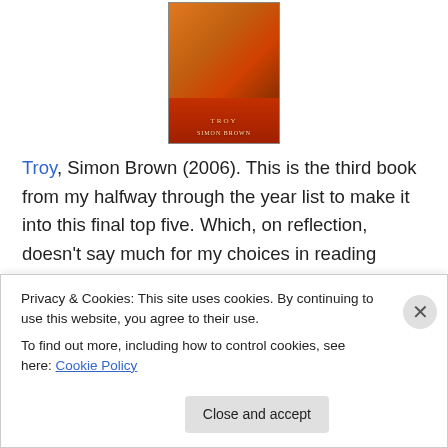[Figure (illustration): Book cover of 'Troy' by Simon Brown - red/orange cover with decorative figures]
Troy, Simon Brown (2006). This is the third book from my halfway through the year list to make it into this final top five. Which, on reflection, doesn't say much for my choices in reading matter during the latter half of 2010. To be fair, I did read a lot of good books, but none struck me as good enough to make this list. Troy, a collection of genre and non-genre stories based on characters from the Trojan
Privacy & Cookies: This site uses cookies. By continuing to use this website, you agree to their use.
To find out more, including how to control cookies, see here: Cookie Policy
Close and accept